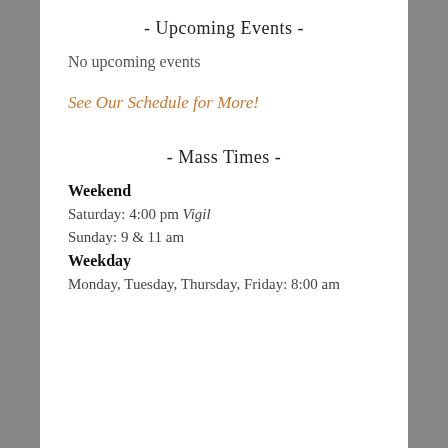- Upcoming Events -
No upcoming events
See Our Schedule for More!
- Mass Times -
Weekend
Saturday: 4:00 pm Vigil
Sunday: 9 & 11 am
Weekday
Monday, Tuesday, Thursday, Friday: 8:00 am